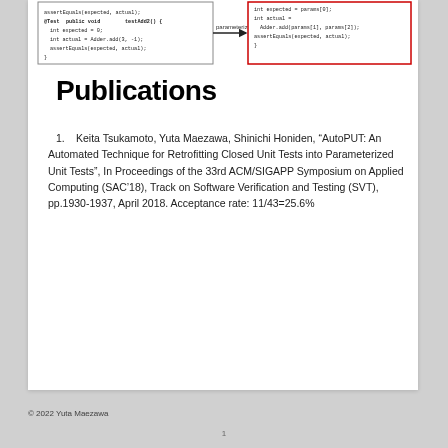[Figure (other): Screenshot showing two code boxes with an arrow labeled 'parameterize' between them — a before/after illustration of converting a closed unit test to a parameterized unit test. Left box shows @Test public void testAdd2() with int expected=0, int actual=Adder.add(3,-1), assertEquals. Right box (red border) shows int expected=params[0], int actual=Adder.add(params[1],params[2]), assertEquals.]
Publications
Keita Tsukamoto, Yuta Maezawa, Shinichi Honiden, “AutoPUT: An Automated Technique for Retrofitting Closed Unit Tests into Parameterized Unit Tests”, In Proceedings of the 33rd ACM/SIGAPP Symposium on Applied Computing (SAC’18), Track on Software Verification and Testing (SVT), pp.1930-1937, April 2018. Acceptance rate: 11/43=25.6%
© 2022 Yuta Maezawa
1